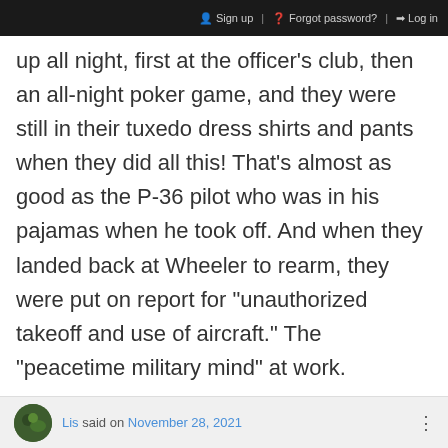Sign up   Forgot password?   Log in
up all night, first at the officer's club, then an all-night poker game, and they were still in their tuxedo dress shirts and pants when they did all this! That's almost as good as the P-36 pilot who was in his pajamas when he took off. And when they landed back at Wheeler to rearm, they were put on report for "unauthorized takeoff and use of aircraft." The "peacetime military mind" at work.
LOG IN TO REPLY
Lis said on November 28, 2021